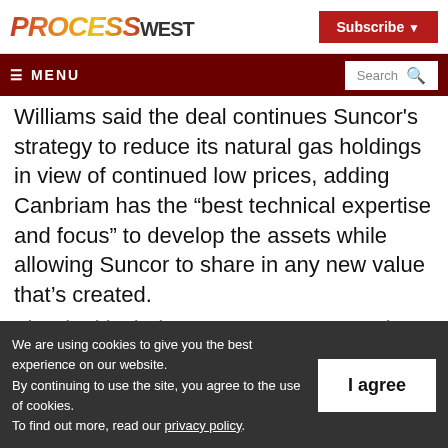PROCESS WEST
Subscribe
≡ MENU | Search
Williams said the deal continues Suncor's strategy to reduce its natural gas holdings in view of continued low prices, adding Canbriam has the “best technical expertise and focus” to develop the assets while allowing Suncor to share in any new value that’s created.
We are using cookies to give you the best experience on our website.
By continuing to use the site, you agree to the use of cookies.
To find out more, read our privacy policy.